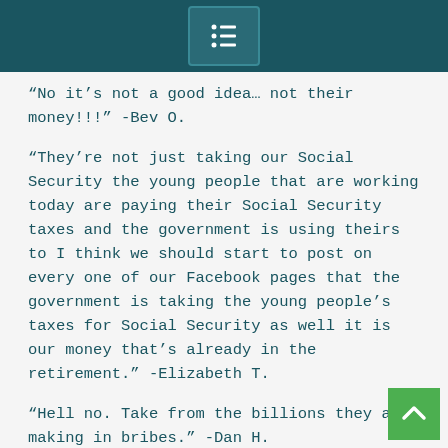“No it’s not a good idea… not their money!!!” -Bev O.
“They’re not just taking our Social Security the young people that are working today are paying their Social Security taxes and the government is using theirs to I think we should start to post on every one of our Facebook pages that the government is taking the young people’s taxes for Social Security as well it is our money that’s already in the retirement.” -Elizabeth T.
“Hell no. Take from the billions they are making in bribes.” -Dan H.